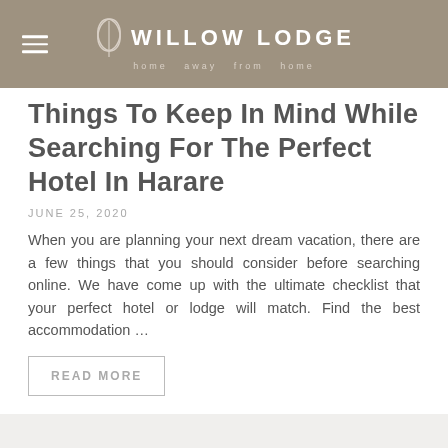WILLOW LODGE — home away from home
Things To Keep In Mind While Searching For The Perfect Hotel In Harare
JUNE 25, 2020
When you are planning your next dream vacation, there are a few things that you should consider before searching online. We have come up with the ultimate checklist that your perfect hotel or lodge will match. Find the best accommodation …
READ MORE
What Constitutes As A Luxury…